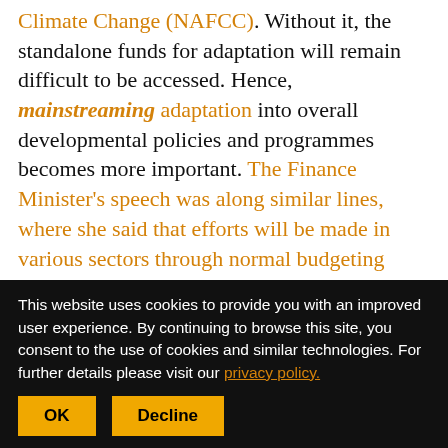Climate Change (NAFCC). Without it, the standalone funds for adaptation will remain difficult to be accessed. Hence, mainstreaming adaptation into overall developmental policies and programmes becomes more important. The Finance Minister's speech was along similar lines, where she said that efforts will be made in various sectors through normal budgeting process. While this means adaptation should be able to tap the existing finance avenues in different departments and schemes, it is not so straightforward in reality. Without clear definitions and well thought out strategies it is difficult to mobilize support and action for
This website uses cookies to provide you with an improved user experience. By continuing to browse this site, you consent to the use of cookies and similar technologies. For further details please visit our privacy policy.